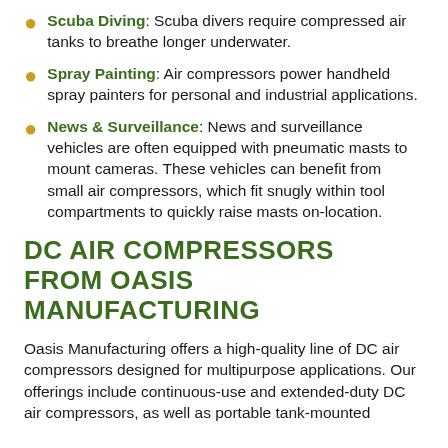Scuba Diving: Scuba divers require compressed air tanks to breathe longer underwater.
Spray Painting: Air compressors power handheld spray painters for personal and industrial applications.
News & Surveillance: News and surveillance vehicles are often equipped with pneumatic masts to mount cameras. These vehicles can benefit from small air compressors, which fit snugly within tool compartments to quickly raise masts on-location.
DC AIR COMPRESSORS FROM OASIS MANUFACTURING
Oasis Manufacturing offers a high-quality line of DC air compressors designed for multipurpose applications. Our offerings include continuous-use and extended-duty DC air compressors, as well as portable tank-mounted